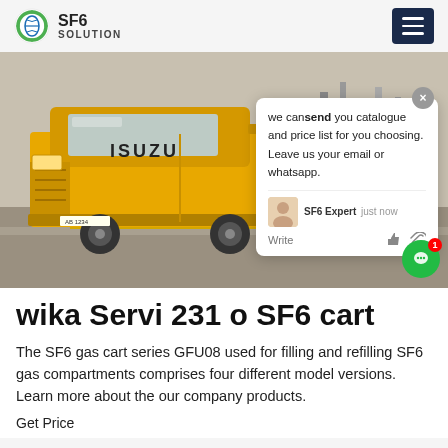SF6 SOLUTION
[Figure (photo): Yellow Isuzu truck parked near an electrical substation with equipment visible in the background. A live chat popup overlay is visible on the right side of the image showing a message: 'we can send you catalogue and price list for you choosing. Leave us your email or whatsapp.' with SF6 Expert agent listed as 'just now'.]
wika Servi 231 o SF6 cart
The SF6 gas cart series GFU08 used for filling and refilling SF6 gas compartments comprises four different model versions. Learn more about the our company products.
Get Price